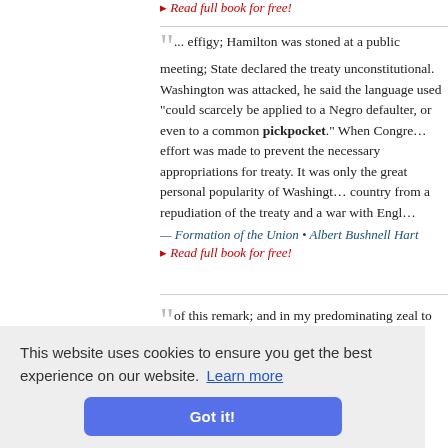▸ Read full book for free!
... effigy; Hamilton was stoned at a public meeting; State declared the treaty unconstitutional. Washington was attacked, he said the language used "could scarcely be applied to a Negro defaulter, or even to a common pickpocket." When Congress effort was made to prevent the necessary appropriations for treaty. It was only the great personal popularity of Washington country from a repudiation of the treaty and a war with England
— Formation of the Union • Albert Bushnell Hart
▸ Read full book for free!
of this remark; and in my predominating zeal to serve a pickpocket herefore, to undisturbed
This website uses cookies to ensure you get the best experience on our website. Learn more
Got it!